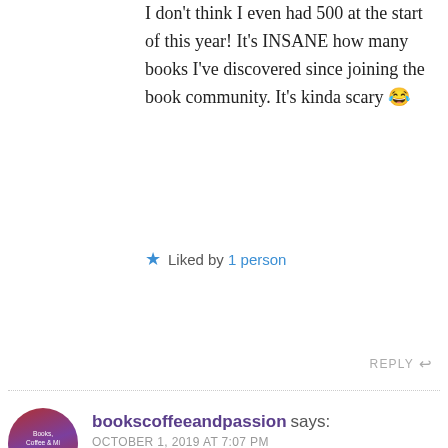I don't think I even had 500 at the start of this year! It's INSANE how many books I've discovered since joining the book community. It's kinda scary 😂
Liked by 1 person
REPLY
bookscoffeeandpassion says: OCTOBER 1, 2019 AT 7:07 PM
It's very hard when the list is mainly classics that you want to read. This was a tough round, I wouldn't get rid of most of these books too.
3/10 is 30%, that's not bad at all! Keep going! 🙂